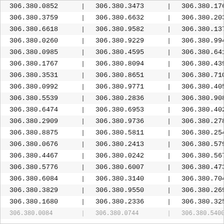| col1 | col2 | col3 |
| --- | --- | --- |
| 306.380.0852 | 306.380.3473 | 306.380.1768 |
| 306.380.3759 | 306.380.6632 | 306.380.2032 |
| 306.380.6618 | 306.380.9582 | 306.380.1371 |
| 306.380.0260 | 306.380.9229 | 306.380.9948 |
| 306.380.0985 | 306.380.4595 | 306.380.6413 |
| 306.380.1767 | 306.380.8094 | 306.380.4396 |
| 306.380.3531 | 306.380.8651 | 306.380.7108 |
| 306.380.0992 | 306.380.9771 | 306.380.4055 |
| 306.380.5539 | 306.380.2836 | 306.380.9089 |
| 306.380.6474 | 306.380.6953 | 306.380.4024 |
| 306.380.2909 | 306.380.9736 | 306.380.2785 |
| 306.380.8875 | 306.380.5811 | 306.380.2542 |
| 306.380.0676 | 306.380.2413 | 306.380.5797 |
| 306.380.4467 | 306.380.0242 | 306.380.5678 |
| 306.380.5776 | 306.380.6007 | 306.380.4733 |
| 306.380.6084 | 306.380.3140 | 306.380.7042 |
| 306.380.3829 | 306.380.9550 | 306.380.2698 |
| 306.380.1680 | 306.380.2336 | 306.380.3255 |
| 306.380.0084 | 306.380.0744 | 306.380.5400 |